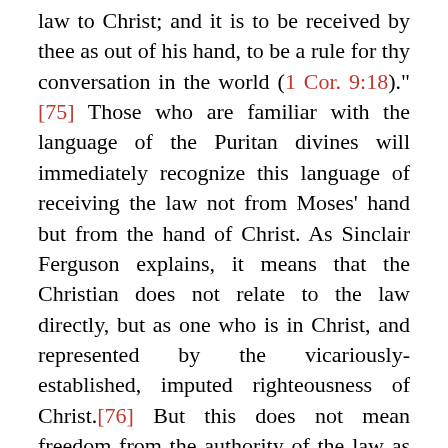law to Christ; and it is to be received by thee as out of his hand, to be a rule for thy conversation in the world (1 Cor. 9:18)."[75] Those who are familiar with the language of the Puritan divines will immediately recognize this language of receiving the law not from Moses' hand but from the hand of Christ. As Sinclair Ferguson explains, it means that the Christian does not relate to the law directly, but as one who is in Christ, and represented by the vicariously-established, imputed righteousness of Christ.[76] But this does not mean freedom from the authority of the law as the expression of God's will, which the Christian is to observe as he works out his